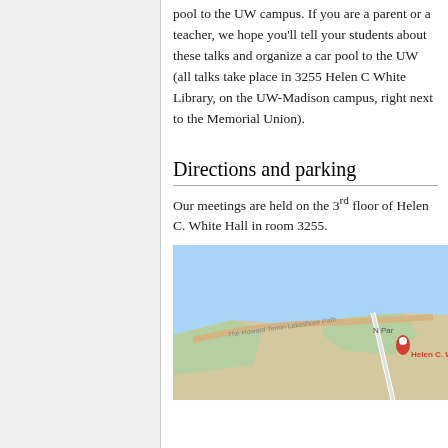pool to the UW campus. If you are a parent or a teacher, we hope you'll tell your students about these talks and organize a car pool to the UW (all talks take place in 3255 Helen C White Library, on the UW-Madison campus, right next to the Memorial Union).
Directions and parking
Our meetings are held on the 3rd floor of Helen C. White Hall in room 3255.
[Figure (map): Google Maps screenshot showing the area near Helen C. White Hall on the UW-Madison campus, with a red location pin labeled 'Helen C. W...' near N Park, along the Howard Temin Lakeshore Path.]